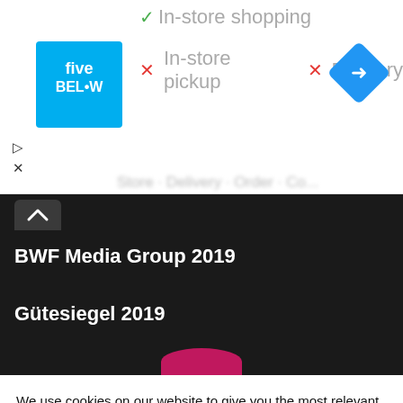[Figure (screenshot): Top section of a webpage showing Five Below store listing with In-store shopping checkmark, In-store pickup X, Delivery X, Five Below logo, and a blue navigation diamond icon]
[Figure (screenshot): Dark navigation bar with chevron up button showing 'BWF Media Group 2019' and 'Gütesiegel 2019' text, with a pink circle at the bottom]
We use cookies on our website to give you the most relevant experience by remembering your preferences and repeat visits. By clicking "Accept All", you consent to the use of ALL the cookies. However, you may visit "Cookie Settings" to provide a controlled consent.
Cookie Settings
Accept All
Translate »